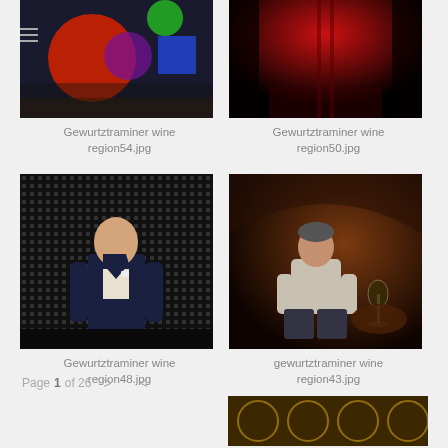[Figure (photo): Abstract colorful stage lights with red circular shape, green and blue geometric shapes, purple overlap on dark background]
Gewurtztraminer wine region54.jpg
[Figure (photo): Red-lit corridor or hallway with dark sides and glowing red center]
Gewurtztraminer wine region50.jpg
[Figure (photo): Man in dark suit standing in front of LED dot wall background]
Gewurtztraminer wine region48.jpg
[Figure (photo): Man sitting in a wine cellar with warm amber lighting, wine glass on table nearby]
gewurtztraminer wine region43.jpg
Page 1 of 26 > <
[Figure (photo): Partial image at bottom showing decorative pattern, possibly stained glass or ornamental design]